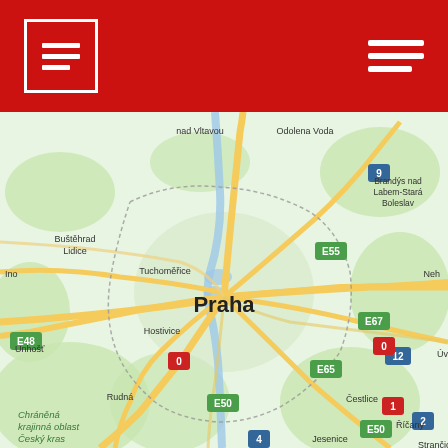[Figure (logo): Red header bar with white bordered square logo containing hamburger menu lines on the left, and hamburger menu icon on the right]
[Figure (map): Google Maps style map of Prague (Praha) and surrounding areas including: nad Vltavou, Odolena Voda, Brandys nad Labem-Stara Boleslav, Bustehrad, Lidice, Tuchomerice, Hostivice, Unhosť, Rudna, Cestlice, Ricany, Strancice, Jesenice. Road labels: E55, E48, E67, E65, E50, 9, 12, 0, 1, 2, 4. Protected landscape area Chranena krajinna oblast Cesky kras in bottom left.]